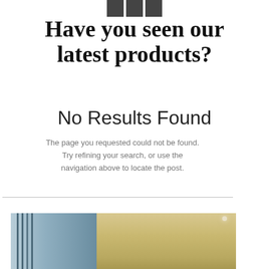[Figure (other): Three social media icon buttons (Facebook, link, Instagram) in dark gray/charcoal squares, partially cropped at top]
Have you seen our latest products?
No Results Found
The page you requested could not be found. Try refining your search, or use the navigation above to locate the post.
[Figure (photo): Interior architectural photo showing a modern building interior with vertical window blinds/louvers on the left and a warm wood-paneled ceiling on the right]